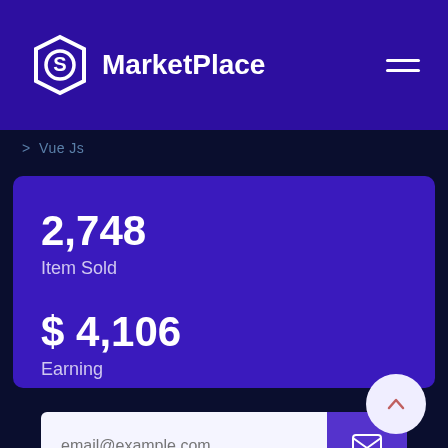MarketPlace
> Vue Js
2,748
Item Sold
$ 4,106
Earning
email@example.com